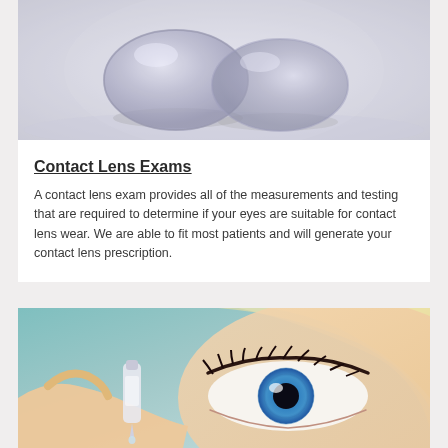[Figure (photo): Close-up photo of two contact lenses on a white/grey surface, showing their curved transparent shape]
Contact Lens Exams
A contact lens exam provides all of the measurements and testing that are required to determine if your eyes are suitable for contact lens wear. We are able to fit most patients and will generate your contact lens prescription.
[Figure (photo): Close-up photo of a blonde woman with blue eyes having eye drops applied to her eye]